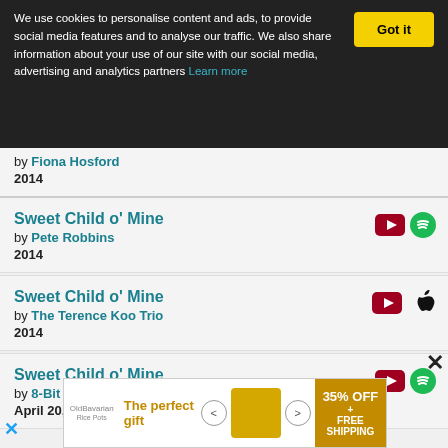We use cookies to personalise content and ads, to provide social media features and to analyse our traffic. We also share information about your use of our site with our social media, advertising and analytics partners Learn more   Got it
Sweet Child o' Mine by Fiona Hosford 2014
Sweet Child o' Mine by Pete Robbins 2014
Sweet Child o' Mine by The Terence Koo Trio 2014
Sweet Child o' Mine by 8-Bit Universe April 20, 2015